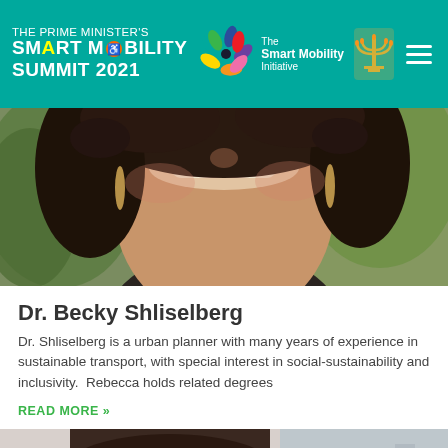THE PRIME MINISTER'S SMART MOBILITY SUMMIT 2021 | The Smart Mobility Initiative
[Figure (photo): Portrait photo of Dr. Becky Shliselberg, smiling woman with curly dark hair and hoop earrings]
Dr. Becky Shliselberg
Dr. Shliselberg is a urban planner with many years of experience in sustainable transport, with special interest in social-sustainability and inclusivity.  Rebecca holds related degrees
READ MORE »
[Figure (photo): Partial portrait photo of another speaker wearing glasses]
REGISTER